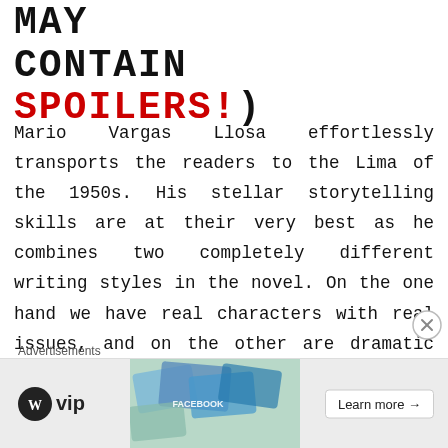MAY CONTAIN SPOILERS!)
Mario Vargas Llosa effortlessly transports the readers to the Lima of the 1950s. His stellar storytelling skills are at their very best as he combines two completely different writing styles in the novel. On the one hand we have real characters with real issues, and on the other are dramatic plots with exaggerated versions of real people. It takes the readers a while – probably at least until the fourth chapter – to figure out that every alternate chapter is actually a serial
Advertisements
[Figure (screenshot): Advertisement banner featuring WordPress VIP logo on the left, a colorful background with overlapping social media and app icons in the center, and a 'Learn more →' button on the right, on a light gray background.]